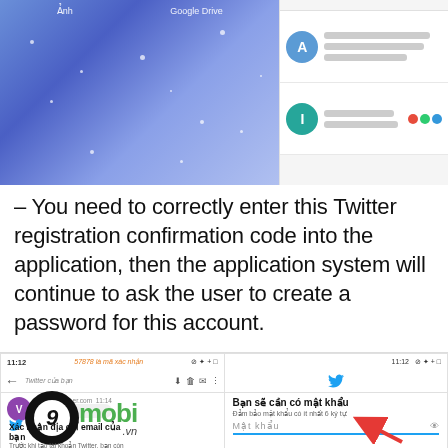[Figure (screenshot): Two-panel screenshot: left panel shows a blue starry wallpaper with 'Ảnh' and 'Google Drive' labels at the top; right panel shows a contact list with two items, one with a blue 'A' avatar and one with a teal 'I' avatar, with blurred gray text lines.]
– You need to correctly enter this Twitter registration confirmation code into the application, then the application system will continue to ask the user to create a password for this account.
[Figure (screenshot): Two-panel screenshot: left panel shows an SMS message thread with a verification code message and a 9mobi.vn watermark logo overlaid, with Twitter icon and 'Xác nhận địa chỉ email của bạn' text and 'Trước khi tạo tài khoản Twitter, bạn còn' below; right panel shows a Twitter password creation screen in Vietnamese 'Bạn sẽ cần có mật khẩu' with a password input field and a red arrow pointing to it.]